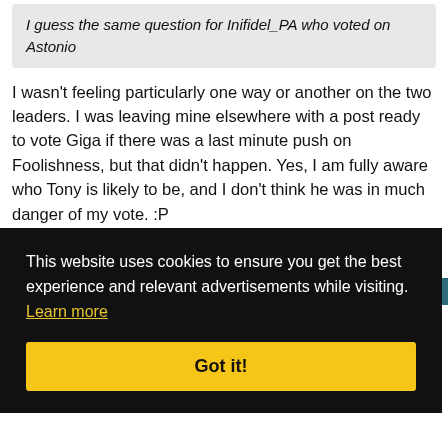I guess the same question for Inifidel_PA who voted on Astonio
I wasn't feeling particularly one way or another on the two leaders. I was leaving mine elsewhere with a post ready to vote Giga if there was a last minute push on Foolishness, but that didn't happen. Yes, I am fully aware who Tony is likely to be, and I don't think he was in much danger of my vote. :P
Quote
#1205
ou
Quote
This website uses cookies to ensure you get the best experience and relevant advertisements while visiting. Learn more
Got it!